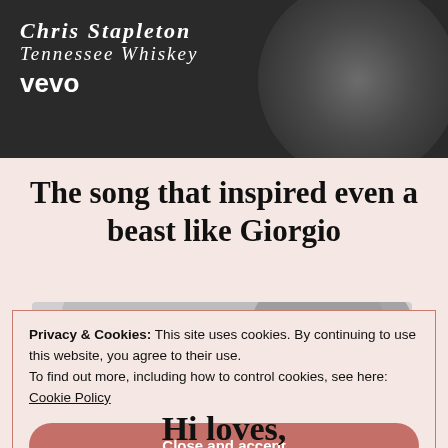[Figure (screenshot): Black and white Vevo music video thumbnail for Chris Stapleton - Tennessee Whiskey, showing white serif italic text overlay on dark background with circular blur shape]
The song that inspired even a beast like Giorgio
[Figure (photo): Partial photo of a person, black and white, partially obscured by cookie banner]
Privacy & Cookies: This site uses cookies. By continuing to use this website, you agree to their use.
To find out more, including how to control cookies, see here:
Cookie Policy
Close and accept
Hi loves,